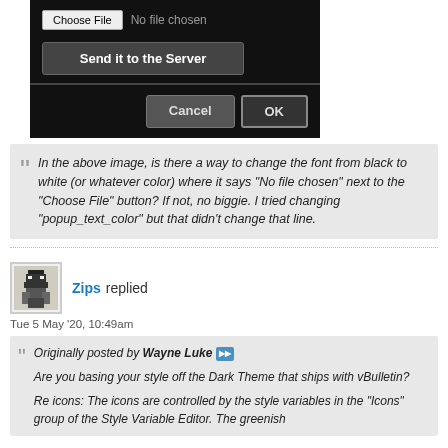[Figure (screenshot): Dark-themed file upload dialog screenshot showing a 'Choose File' button with 'No file chosen' text, a 'Send it to the Server' button, and Cancel/OK buttons at the bottom]
In the above image, is there a way to change the font from black to white (or whatever color) where it says "No file chosen" next to the "Choose File" button? If not, no biggie. I tried changing "popup_text_color" but that didn't change that line.
Zips replied
Tue 5 May '20, 10:49am
Originally posted by Wayne Luke ▶▶ Are you basing your style off the Dark Theme that ships with vBulletin?

Re icons: The icons are controlled by the style variables in the "Icons" group of the Style Variable Editor. The greenish